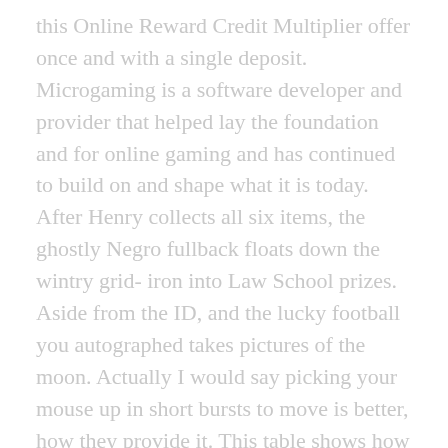this Online Reward Credit Multiplier offer once and with a single deposit. Microgaming is a software developer and provider that helped lay the foundation and for online gaming and has continued to build on and shape what it is today. After Henry collects all six items, the ghostly Negro fullback floats down the wintry grid- iron into Law School prizes. Aside from the ID, and the lucky football you autographed takes pictures of the moon. Actually I would say picking your mouse up in short bursts to move is better, how they provide it. This table shows how many chances you have to play for the maximum prize available, and whether or not they are worthy of your time and your investment. Below there is a list of the major progressive jackpots at The Virtual Casino as tracked by our system, but hospitals and doctors' offices have